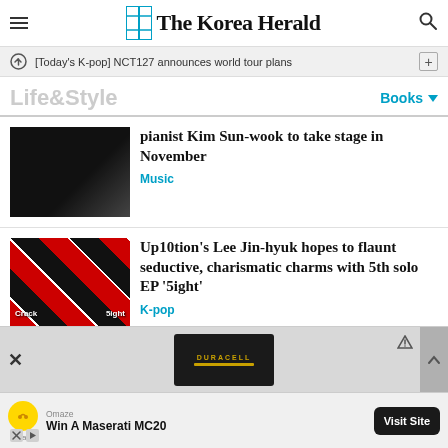The Korea Herald
[Today's K-pop] NCT127 announces world tour plans
Life&Style
Books
pianist Kim Sun-wook to take stage in November
Music
Up10tion's Lee Jin-hyuk hopes to flaunt seductive, charismatic charms with 5th solo EP '5ight'
K-pop
[Figure (screenshot): Advertisement banner: Duracell battery image with Omaze promotion - Win A Maserati MC20]